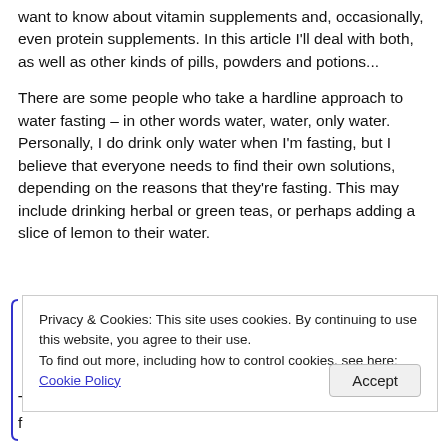want to know about vitamin supplements and, occasionally, even protein supplements. In this article I'll deal with both, as well as other kinds of pills, powders and potions...
There are some people who take a hardline approach to water fasting – in other words water, water, only water. Personally, I do drink only water when I'm fasting, but I believe that everyone needs to find their own solutions, depending on the reasons that they're fasting. This may include drinking herbal or green teas, or perhaps adding a slice of lemon to their water.
Privacy & Cookies: This site uses cookies. By continuing to use this website, you agree to their use.
To find out more, including how to control cookies, see here:
Cookie Policy

Accept
T
f